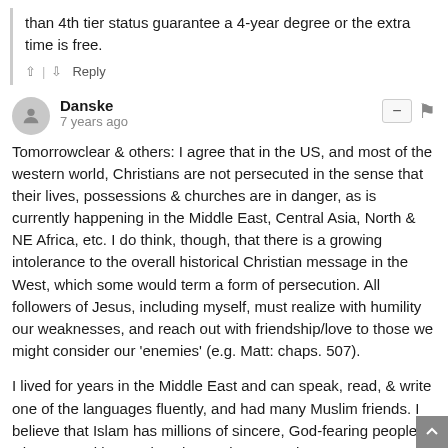than 4th tier status guarantee a 4-year degree or the extra time is free.
↑ | ↓ Reply
Danske
7 years ago
Tomorrowclear & others: I agree that in the US, and most of the western world, Christians are not persecuted in the sense that their lives, possessions & churches are in danger, as is currently happening in the Middle East, Central Asia, North & NE Africa, etc. I do think, though, that there is a growing intolerance to the overall historical Christian message in the West, which some would term a form of persecution. All followers of Jesus, including myself, must realize with humility our weaknesses, and reach out with friendship/love to those we might consider our 'enemies' (e.g. Matt: chaps. 507).
I lived for years in the Middle East and can speak, read, & write one of the languages fluently, and had many Muslim friends. I believe that Islam has millions of sincere, God-fearing people who are seeking God as they've been taught